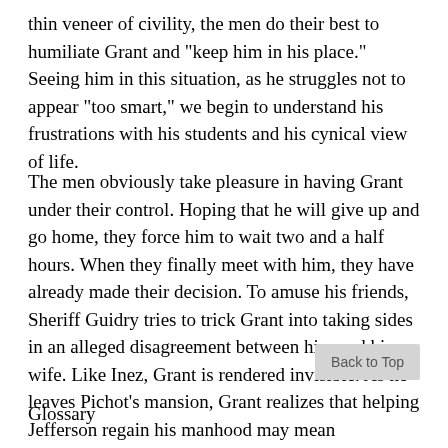thin veneer of civility, the men do their best to humiliate Grant and "keep him in his place." Seeing him in this situation, as he struggles not to appear "too smart," we begin to understand his frustrations with his students and his cynical view of life.
The men obviously take pleasure in having Grant under their control. Hoping that he will give up and go home, they force him to wait two and a half hours. When they finally meet with him, they have already made their decision. To amuse his friends, Sheriff Guidry tries to trick Grant into taking sides in an alleged disagreement between him and his wife. Like Inez, Grant is rendered invisible. As he leaves Pichot's mansion, Grant realizes that helping Jefferson regain his manhood may mean compromising his own dignity.
Glossary